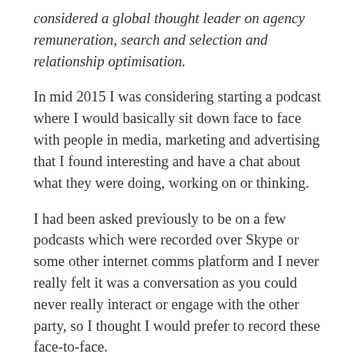considered a global thought leader on agency remuneration, search and selection and relationship optimisation.
In mid 2015 I was considering starting a podcast where I would basically sit down face to face with people in media, marketing and advertising that I found interesting and have a chat about what they were doing, working on or thinking.
I had been asked previously to be on a few podcasts which were recorded over Skype or some other internet comms platform and I never really felt it was a conversation as you could never really interact or engage with the other party, so I thought I would prefer to record these face-to-face.